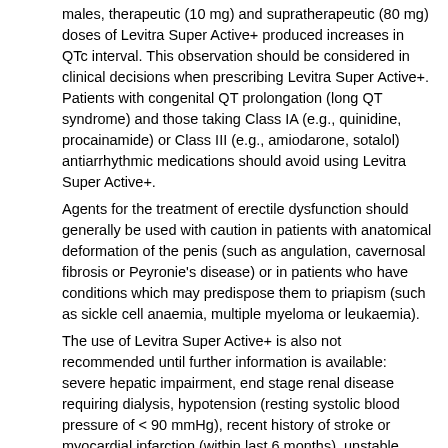males, therapeutic (10 mg) and supratherapeutic (80 mg) doses of Levitra Super Active+ produced increases in QTc interval. This observation should be considered in clinical decisions when prescribing Levitra Super Active+. Patients with congenital QT prolongation (long QT syndrome) and those taking Class IA (e.g., quinidine, procainamide) or Class III (e.g., amiodarone, sotalol) antiarrhythmic medications should avoid using Levitra Super Active+.
Agents for the treatment of erectile dysfunction should generally be used with caution in patients with anatomical deformation of the penis (such as angulation, cavernosal fibrosis or Peyronie's disease) or in patients who have conditions which may predispose them to priapism (such as sickle cell anaemia, multiple myeloma or leukaemia).
The use of Levitra Super Active+ is also not recommended until further information is available: severe hepatic impairment, end stage renal disease requiring dialysis, hypotension (resting systolic blood pressure of < 90 mmHg), recent history of stroke or myocardial infarction (within last 6 months), unstable angina, and known hereditary degenerative retinal disorders such as retinitis pigmentosa.
Patients should be aware of the way they react to VOLKENO-20 before driving or operating machinery.
Possible Side Effects
Even the highest dosage tested (80 mg per day) was tolerated w producing senous adverse side effects. This was confirmed in a study with